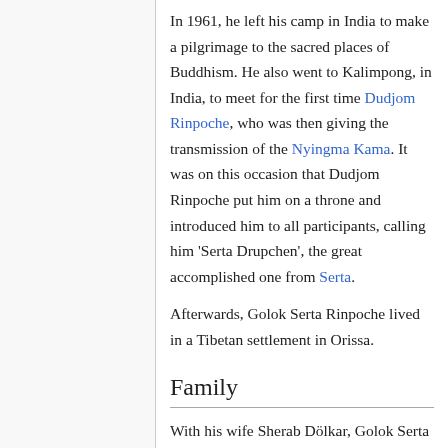In 1961, he left his camp in India to make a pilgrimage to the sacred places of Buddhism. He also went to Kalimpong, in India, to meet for the first time Dudjom Rinpoche, who was then giving the transmission of the Nyingma Kama. It was on this occasion that Dudjom Rinpoche put him on a throne and introduced him to all participants, calling him 'Serta Drupchen', the great accomplished one from Serta.
Afterwards, Golok Serta Rinpoche lived in a Tibetan settlement in Orissa.
Family
With his wife Sherab Dölkar, Golok Serta Rinpoche had many childrens, including:
Machik Zangmo
Second Degyal Rinpoche, whose